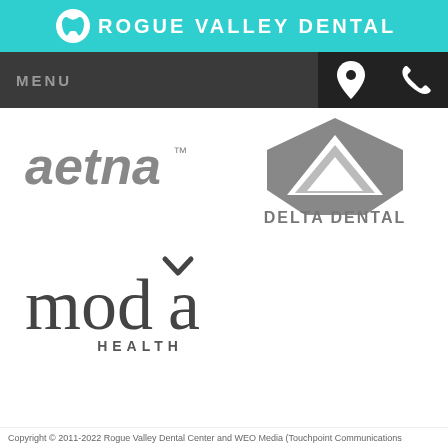ROGUE VALLEY DENTAL CENTER
[Figure (logo): Aetna insurance logo in gray]
[Figure (logo): Delta Dental insurance logo in gray]
[Figure (logo): Moda Health insurance logo in gray]
Copyright © 2011-2022 Rogue Valley Dental Center and WEO Media (Touchpoint Communications